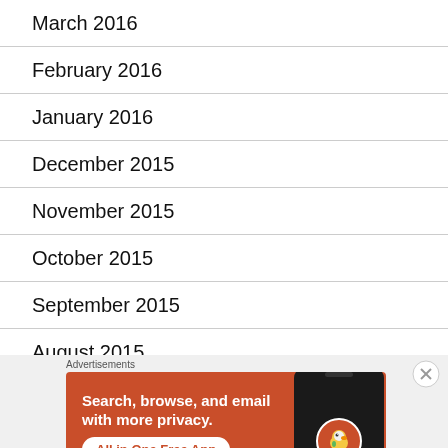March 2016
February 2016
January 2016
December 2015
November 2015
October 2015
September 2015
August 2015
[Figure (infographic): DuckDuckGo advertisement banner with orange background. Text reads 'Search, browse, and email with more privacy. All in One Free App' with a phone graphic showing the DuckDuckGo logo.]